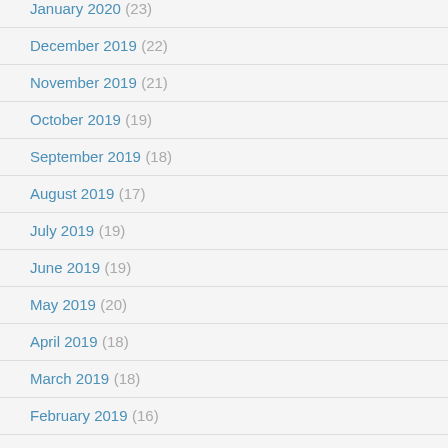January 2020 (23)
December 2019 (22)
November 2019 (21)
October 2019 (19)
September 2019 (18)
August 2019 (17)
July 2019 (19)
June 2019 (19)
May 2019 (20)
April 2019 (18)
March 2019 (18)
February 2019 (16)